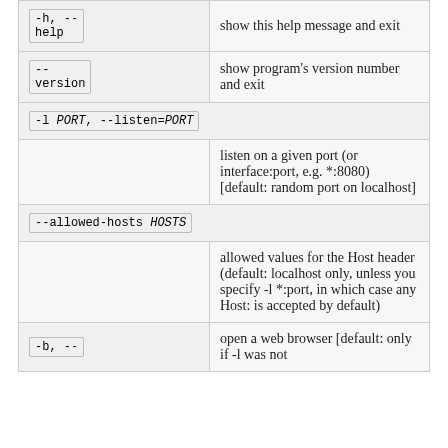| Option | Description |
| --- | --- |
| -h, --help | show this help message and exit |
| --version | show program's version number and exit |
| -l PORT, --listen=PORT | listen on a given port (or interface:port, e.g. *:8080) [default: random port on localhost] |
| --allowed-hosts HOSTS | allowed values for the Host header (default: localhost only, unless you specify -l *:port, in which case any Host: is accepted by default) |
| -b, -- | open a web browser [default: only if -l was not |